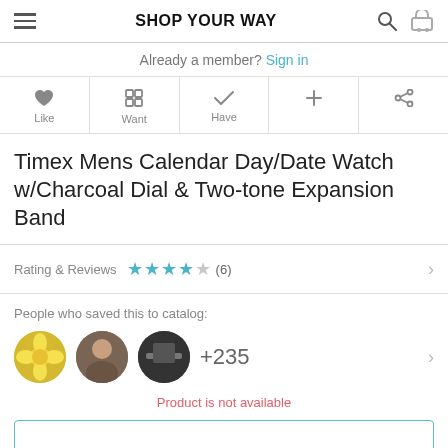SHOP YOUR WAY
Already a member? Sign in
Like | Want | Have | + | Share
Timex Mens Calendar Day/Date Watch w/Charcoal Dial & Two-tone Expansion Band
Rating & Reviews ★★★★☆ (6)
People who saved this to catalog: +235
Product is not available